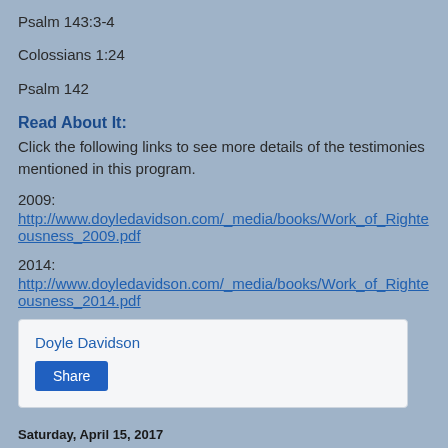Psalm 143:3-4
Colossians 1:24
Psalm 142
Read About It:
Click the following links to see more details of the testimonies mentioned in this program.
2009:
http://www.doyledavidson.com/_media/books/Work_of_Righteousness_2009.pdf
2014:
http://www.doyledavidson.com/_media/books/Work_of_Righteousness_2014.pdf
Doyle Davidson
Share
Saturday, April 15, 2017